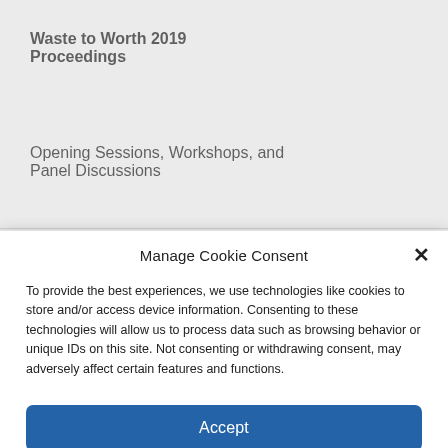Waste to Worth 2019 Proceedings
Opening Sessions, Workshops, and Panel Discussions
Manage Cookie Consent
To provide the best experiences, we use technologies like cookies to store and/or access device information. Consenting to these technologies will allow us to process data such as browsing behavior or unique IDs on this site. Not consenting or withdrawing consent, may adversely affect certain features and functions.
Accept
Cookie Policy  Privacy Statement